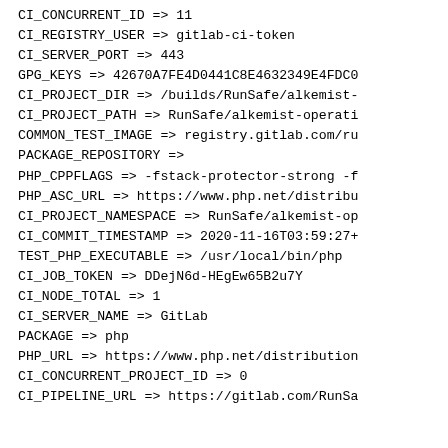CI_CONCURRENT_ID => 11
CI_REGISTRY_USER => gitlab-ci-token
CI_SERVER_PORT => 443
GPG_KEYS => 42670A7FE4D0441C8E4632349E4FDC0
CI_PROJECT_DIR => /builds/RunSafe/alkemist-
CI_PROJECT_PATH => RunSafe/alkemist-operati
COMMON_TEST_IMAGE => registry.gitlab.com/ru
PACKAGE_REPOSITORY =>
PHP_CPPFLAGS => -fstack-protector-strong -f
PHP_ASC_URL => https://www.php.net/distribu
CI_PROJECT_NAMESPACE => RunSafe/alkemist-op
CI_COMMIT_TIMESTAMP => 2020-11-16T03:59:27+
TEST_PHP_EXECUTABLE => /usr/local/bin/php
CI_JOB_TOKEN => DDejN6d-HEgEw65B2u7Y
CI_NODE_TOTAL => 1
CI_SERVER_NAME => GitLab
PACKAGE => php
PHP_URL => https://www.php.net/distribution
CI_CONCURRENT_PROJECT_ID => 0
CI_PIPELINE_URL => https://gitlab.com/RunSa